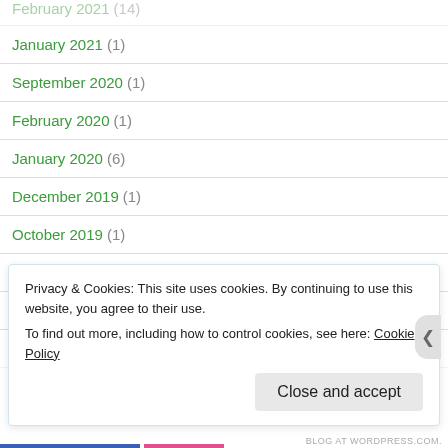February 2021 (14)
January 2021 (1)
September 2020 (1)
February 2020 (1)
January 2020 (6)
December 2019 (1)
October 2019 (1)
September 2019 (7)
August 2019 (9)
Privacy & Cookies: This site uses cookies. By continuing to use this website, you agree to their use. To find out more, including how to control cookies, see here: Cookie Policy
Close and accept